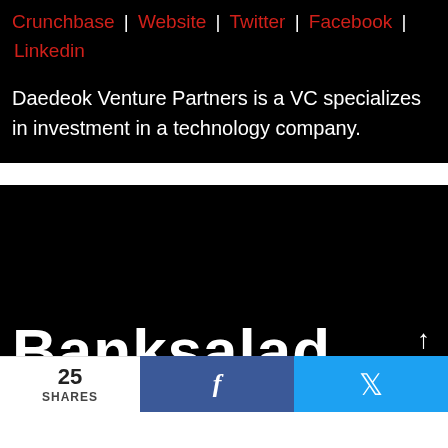Crunchbase | Website | Twitter | Facebook | Linkedin
Daedeok Venture Partners is a VC specializes in investment in a technology company.
Banksalad
25 SHARES | f | (twitter icon)